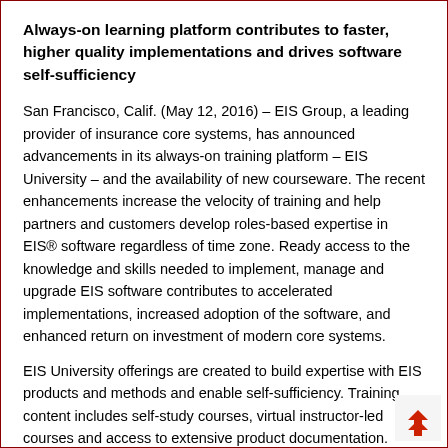Always-on learning platform contributes to faster, higher quality implementations and drives software self-sufficiency
San Francisco, Calif. (May 12, 2016) – EIS Group, a leading provider of insurance core systems, has announced advancements in its always-on training platform – EIS University – and the availability of new courseware. The recent enhancements increase the velocity of training and help partners and customers develop roles-based expertise in EIS® software regardless of time zone. Ready access to the knowledge and skills needed to implement, manage and upgrade EIS software contributes to accelerated implementations, increased adoption of the software, and enhanced return on investment of modern core systems.
EIS University offerings are created to build expertise with EIS products and methods and enable self-sufficiency. Training content includes self-study courses, virtual instructor-led courses and access to extensive product documentation. Project-specific learning plans support diverse training needs and allow project leaders to create customized training plans to best support the program plan, products, experience levels, and project roles.
EIS University enhancements